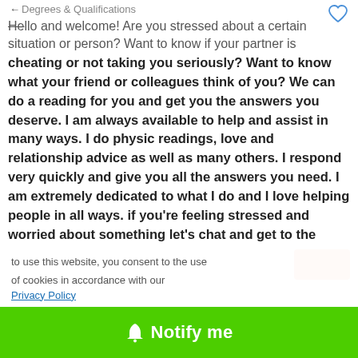Degrees & Qualifications
Hello and welcome! Are you stressed about a certain situation or person? Want to know if your partner is cheating or not taking you seriously? Want to know what your friend or colleagues think of you? We can do a reading for you and get you the answers you deserve. I am always available to help and assist in many ways. I do physic readings, love and relationship advice as well as many others. I respond very quickly and give you all the answers you need. I am extremely dedicated to what I do and I love helping people in all ways. if you're feeling stressed and worried about something let's chat and get to the bottom of it. I am always here for you and always will give you the best answers, truths and advice. Do not hesitate to contact me, if you're having a weird gut feeling it is normally right and you can find out the best solution from me right away
to use this website, you consent to the use of cookies in accordance with our
Privacy Policy
Notify me